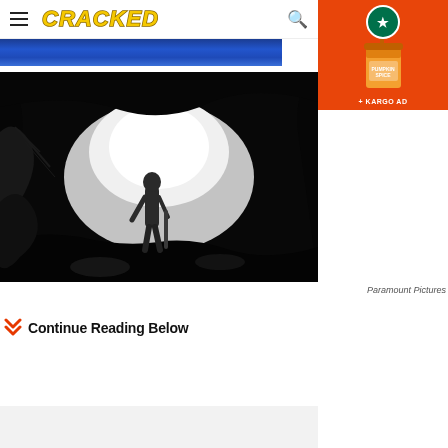CRACKED
[Figure (photo): Cracked.com website header with hamburger menu, Cracked logo in yellow italic bold, and search icon on right]
[Figure (photo): Orange Starbucks Pumpkin Spice advertisement banner (KARGO AD) in top right corner]
[Figure (photo): Cinematic black and white film still of a person standing at the entrance of a dark cave or tunnel, backlit with bright light, holding a stick. From Paramount Pictures.]
Paramount Pictures
Continue Reading Below